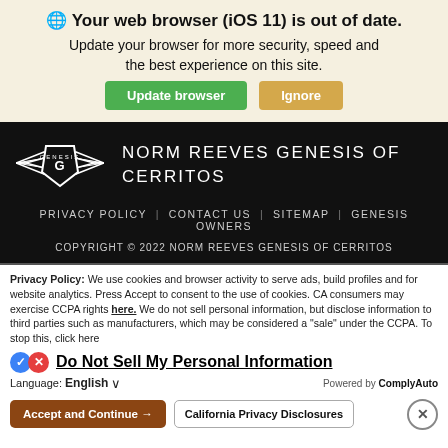🌐 Your web browser (iOS 11) is out of date.
Update your browser for more security, speed and the best experience on this site.
[Figure (screenshot): Two buttons: green 'Update browser' and tan 'Ignore']
[Figure (logo): Genesis winged shield logo in white on black background]
NORM REEVES GENESIS OF CERRITOS
PRIVACY POLICY  |  CONTACT US  |  SITEMAP  |  GENESIS OWNERS
COPYRIGHT © 2022 NORM REEVES GENESIS OF CERRITOS
Privacy Policy: We use cookies and browser activity to serve ads, build profiles and for website analytics. Press Accept to consent to the use of cookies. CA consumers may exercise CCPA rights here. We do not sell personal information, but disclose information to third parties such as manufacturers, which may be considered a "sale" under the CCPA. To stop this, click here
Do Not Sell My Personal Information
Language: English
Powered by ComplyAuto
Accept and Continue →
California Privacy Disclosures